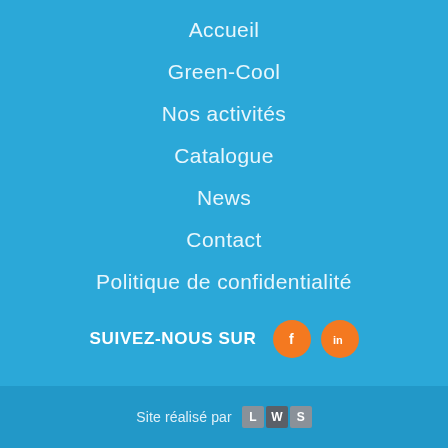Accueil
Green-Cool
Nos activités
Catalogue
News
Contact
Politique de confidentialité
SUIVEZ-NOUS SUR
[Figure (logo): Facebook and LinkedIn social media icons as orange circles with white f and in logos]
Site réalisé par LWS